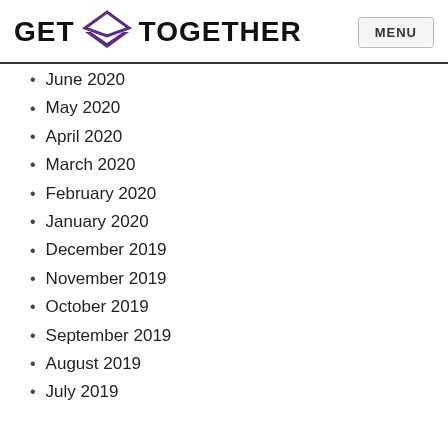GET TOGETHER | MENU
June 2020
May 2020
April 2020
March 2020
February 2020
January 2020
December 2019
November 2019
October 2019
September 2019
August 2019
July 2019